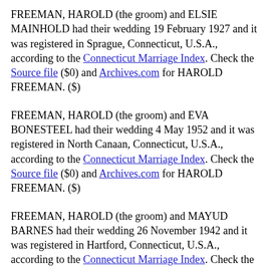FREEMAN, HAROLD (the groom) and ELSIE MAINHOLD had their wedding 19 February 1927 and it was registered in Sprague, Connecticut, U.S.A., according to the Connecticut Marriage Index. Check the Source file ($0) and Archives.com for HAROLD FREEMAN. ($)
FREEMAN, HAROLD (the groom) and EVA BONESTEEL had their wedding 4 May 1952 and it was registered in North Canaan, Connecticut, U.S.A., according to the Connecticut Marriage Index. Check the Source file ($0) and Archives.com for HAROLD FREEMAN. ($)
FREEMAN, HAROLD (the groom) and MAYUD BARNES had their wedding 26 November 1942 and it was registered in Hartford, Connecticut, U.S.A., according to the Connecticut Marriage Index. Check the Source file ($0) and Archives.com for HAROLD FREEMAN. ($)